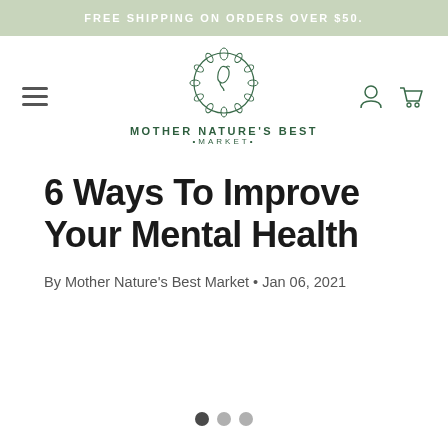FREE SHIPPING ON ORDERS OVER $50.
[Figure (logo): Mother Nature's Best Market logo: line drawing of a woman's face in profile with floral wreath, above text MOTHER NATURE'S BEST •MARKET•]
6 Ways To Improve Your Mental Health
By Mother Nature's Best Market • Jan 06, 2021